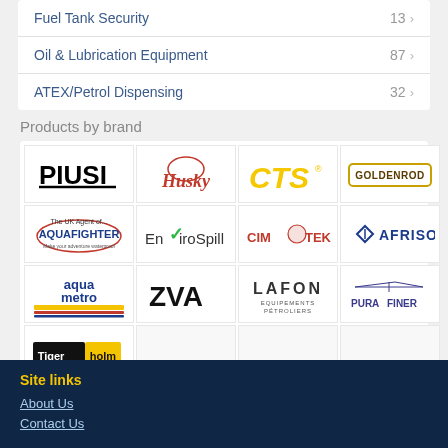Fuel Tank Security  13 >
Oil & Lubrication Equipment  87 >
ATEX/Petrol Dispensing  32 >
Products by brand
[Figure (logo): PIUSI brand logo]
[Figure (logo): Husky brand logo]
[Figure (logo): CTS brand logo]
[Figure (logo): GOLDENROD brand logo]
[Figure (logo): The UK Agent of AQUAFIGHTER brand logo]
[Figure (logo): EnviroSpill brand logo]
[Figure (logo): CIM-TEK brand logo]
[Figure (logo): AFRISO brand logo]
[Figure (logo): aqua metro brand logo]
[Figure (logo): ZVA brand logo]
[Figure (logo): LAFON brand logo]
[Figure (logo): PURAFINER brand logo]
[Figure (logo): Tigerholm brand logo]
Site links
About Us
Contact Us